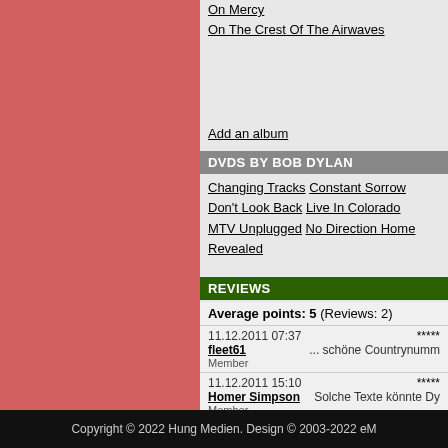On Mercy
On The Crest Of The Airwaves
Add an album
DVDS BY BOB DYLAN
Changing Tracks
Constant Sorrow
Don't Look Back
Live In Colorado
MTV Unplugged
No Direction Home
Revealed
REVIEWS
Average points: 5 (Reviews: 2)
11.12.2011 07:37  fleet61  Member  *****  ... schöne Countrynumm
11.12.2011 15:10  Homer Simpson  Member  *****  Solche Texte könnte Dy
Add a review
Copyright © 2022 Hung Medien. Design © 2003-2022 eM